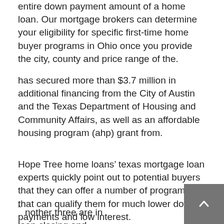entire down payment amount of a home loan. Our mortgage brokers can determine your eligibility for specific first-time home buyer programs in Ohio once you provide the city, county and price range of the.
has secured more than $3.7 million in additional financing from the City of Austin and the Texas Department of Housing and Community Affairs, as well as an affordable housing program (ahp) grant from.
Hope Tree home loans’ texas mortgage loan experts quickly point out to potential buyers that they can offer a number of programs that can qualify them for much lower down payments and low interest.
Another three are in loan closing and nine more